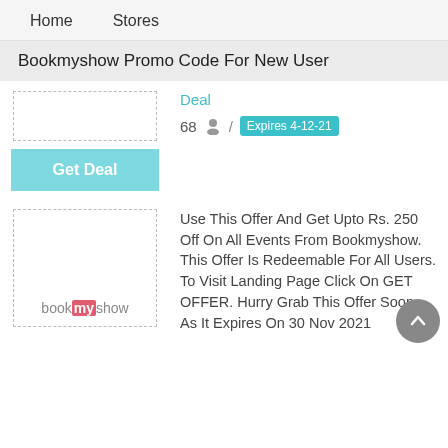Home   Stores
Bookmyshow Promo Code For New User
Deal
68  /  Expires 4-12-21
Get Deal
[Figure (logo): bookmyshow logo inside dashed border box]
Use This Offer And Get Upto Rs. 250 Off On All Events From Bookmyshow. This Offer Is Redeemable For All Users. To Visit Landing Page Click On GET OFFER. Hurry Grab This Offer Soon, As It Expires On 30 Nov 2021